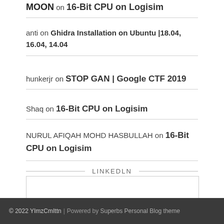MOON on 16-Bit CPU on Logisim
anti on Ghidra Installation on Ubuntu |18.04, 16.04, 14.04
hunkerjr on STOP GAN | Google CTF 2019
Shaq on 16-Bit CPU on Logisim
NURUL AFIQAH MOHD HASBULLAH on 16-Bit CPU on Logisim
LINKEDLN
© 2022 YImzCmIttn | Powered by Superbs Personal Blog theme